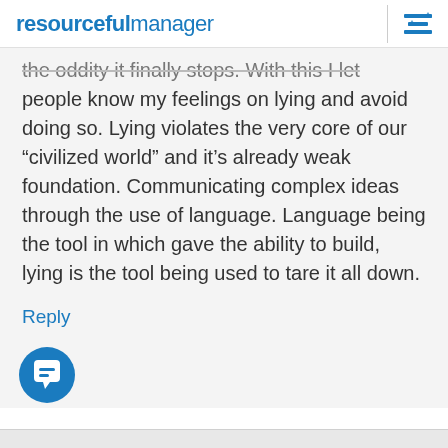resourcefulmanager
the oddity it finally stops. With this I let people know my feelings on lying and avoid doing so. Lying violates the very core of our “civilized world” and it’s already weak foundation. Communicating complex ideas through the use of language. Language being the tool in which gave the ability to build, lying is the tool being used to tare it all down.
Reply